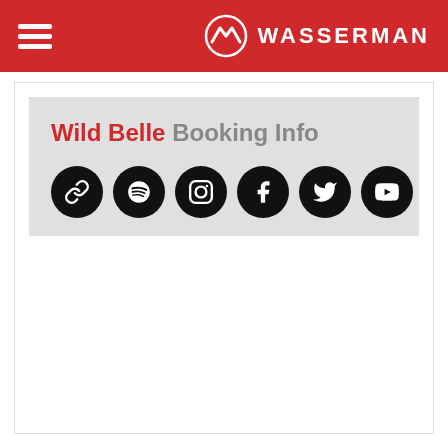WASSERMAN
Wild Belle Booking Info
[Figure (other): Row of six black circular social media icon buttons: link/chain, Spotify, Instagram, Facebook, Twitter, YouTube]